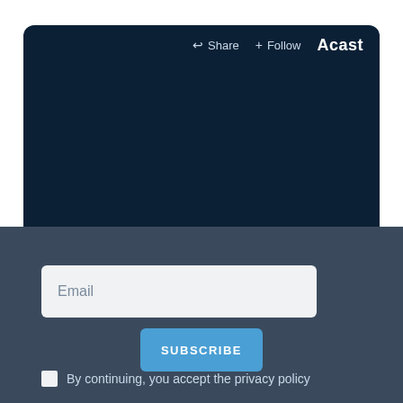[Figure (screenshot): Acast podcast player interface with dark navy background, showing Share and Follow buttons in the top-right corner, and an Acast logo. A teal strip appears at the bottom of the card.]
Email
SUBSCRIBE
By continuing, you accept the privacy policy